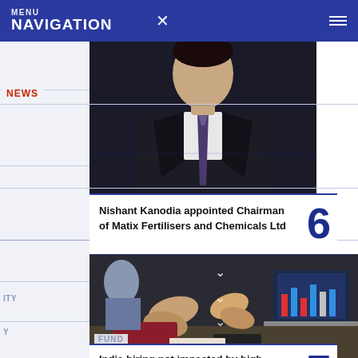MENU NAVIGATION
[Figure (photo): Person in dark suit visible from shoulders/chest up against dark background]
NEWS
Nishant Kanodia appointed Chairman of Matix Fertilisers and Chemicals Ltd
[Figure (photo): Business meeting scene with people clapping and a laptop showing charts in the background]
FUND
India hiring not impacted by high global